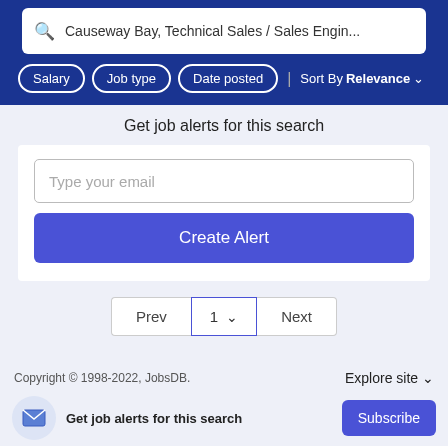Causeway Bay, Technical Sales / Sales Engin...
Salary
Job type
Date posted
Sort By Relevance
Get job alerts for this search
Type your email
Create Alert
Prev   1   Next
Copyright © 1998-2022, JobsDB.
Explore site
Get job alerts for this search
Subscribe